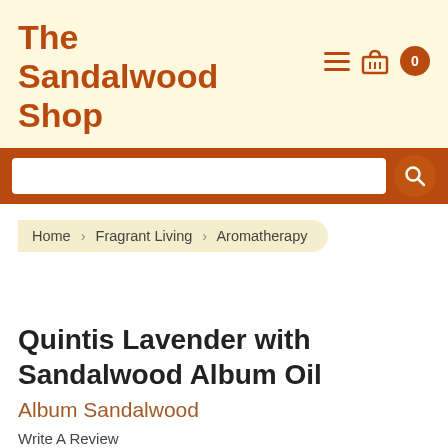The Sandalwood Shop
Home > Fragrant Living > Aromatherapy
Quintis Lavender with Sandalwood Album Oil
Album Sandalwood
Write A Review